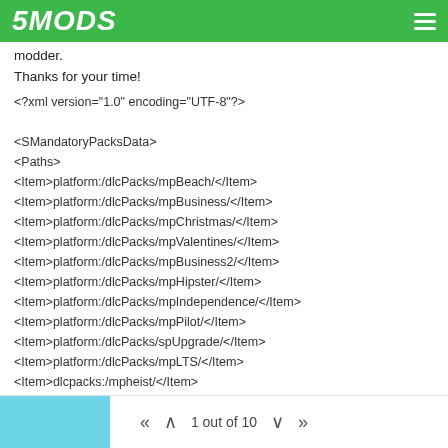5MODS
modder.
Thanks for your time!
<?xml version="1.0" encoding="UTF-8"?>

<SMandatoryPacksData>
<Paths>
<Item>platform:/dlcPacks/mpBeach/</Item>
<Item>platform:/dlcPacks/mpBusiness/</Item>
<Item>platform:/dlcPacks/mpChristmas/</Item>
<Item>platform:/dlcPacks/mpValentines/</Item>
<Item>platform:/dlcPacks/mpBusiness2/</Item>
<Item>platform:/dlcPacks/mpHipster/</Item>
<Item>platform:/dlcPacks/mpIndependence/</Item>
<Item>platform:/dlcPacks/mpPilot/</Item>
<Item>platform:/dlcPacks/spUpgrade/</Item>
<Item>platform:/dlcPacks/mpLTS/</Item>
<Item>dlcpacks:/mpheist/</Item>
<Item>dlcpacks:/mppatchesng/</Item>
<Item>dlcpacks:/patchday1ng/</Item>
1 out of 10